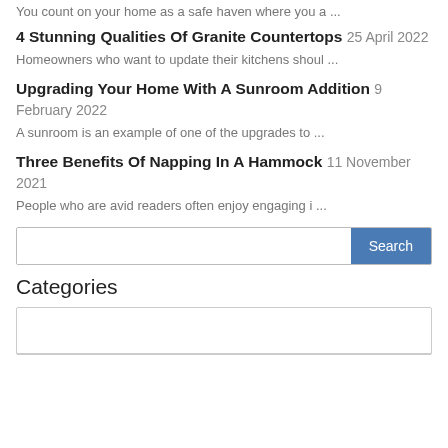You count on your home as a safe haven where you a ...
4 Stunning Qualities Of Granite Countertops 25 April 2022
Homeowners who want to update their kitchens shoul ...
Upgrading Your Home With A Sunroom Addition 9 February 2022
A sunroom is an example of one of the upgrades to ...
Three Benefits Of Napping In A Hammock 11 November 2021
People who are avid readers often enjoy engaging i ...
Categories